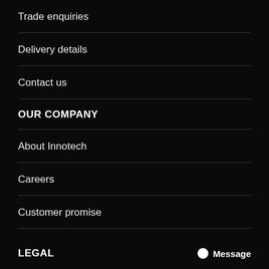Trade enquiries
Delivery details
Contact us
OUR COMPANY
About Innotech
Careers
Customer promise
Blog
Silverback
LEGAL
Message